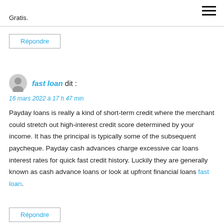Gratis.
Répondre
fast loan dit :
16 mars 2022 à 17 h 47 min
Payday loans is really a kind of short-term credit where the merchant could stretch out high-interest credit score determined by your income. It has the principal is typically some of the subsequent paycheque. Payday cash advances charge excessive car loans interest rates for quick fast credit history. Luckily they are generally known as cash advance loans or look at upfront financial loans fast loan.